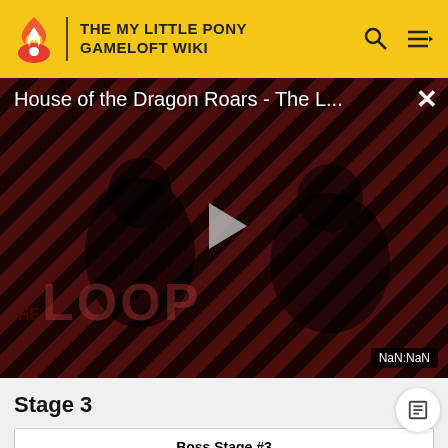THE MY LITTLE PONY GAMELOFT WIKI
[Figure (screenshot): Video thumbnail for 'House of the Dragon Roars - The L...' with a play button, THE LOOP branding, and NaN:NaN timestamp display. Dark background with diagonal red and black stripes pattern, with two shadowy figures.]
Stage 3
| Boss Stage #3 |
| --- |
| Guaranteed Reward |  |